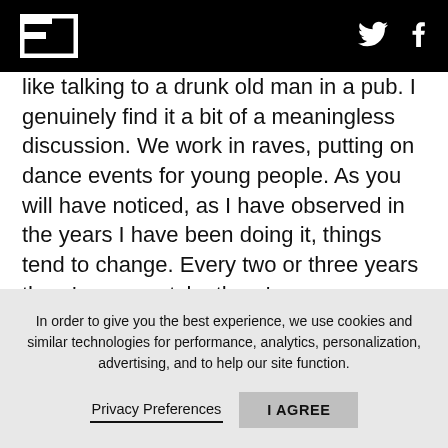F [logo] [Twitter icon] [Facebook icon]
like talking to a drunk old man in a pub. I genuinely find it a bit of a meaningless discussion. We work in raves, putting on dance events for young people. As you will have noticed, as I have observed in the years I have been doing it, things tend to change. Every two or three years there's a new style, there's a new generation, there's a new theme.
Even while we were doing it there was a big transition to having an online presence. When we were doing Bloo...
In order to give you the best experience, we use cookies and similar technologies for performance, analytics, personalization, advertising, and to help our site function.
Privacy Preferences   I AGREE